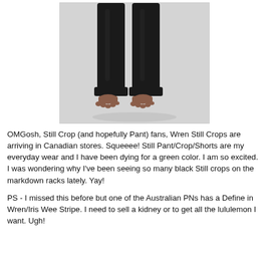[Figure (photo): Product photo of black cropped wide-leg pants (lululemon Still Crop) worn by a model from the waist down, barefoot, against a light gray background.]
OMGosh, Still Crop (and hopefully Pant) fans, Wren Still Crops are arriving in Canadian stores. Squeeee! Still Pant/Crop/Shorts are my everyday wear and I have been dying for a green color. I am so excited. I was wondering why I've been seeing so many black Still crops on the markdown racks lately. Yay!
PS - I missed this before but one of the Australian PNs has a Define in Wren/Iris Wee Stripe. I need to sell a kidney or to get all the lululemon I want. Ugh!